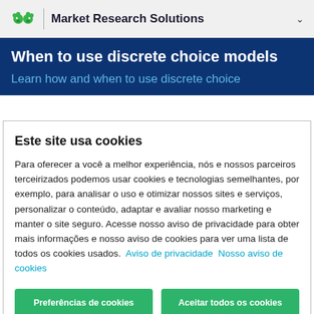Market Research Solutions
When to use discrete choice models
Learn how and when to use discrete choice
Este site usa cookies
Para oferecer a você a melhor experiência, nós e nossos parceiros terceirizados podemos usar cookies e tecnologias semelhantes, por exemplo, para analisar o uso e otimizar nossos sites e serviços, personalizar o conteúdo, adaptar e avaliar nosso marketing e manter o site seguro. Acesse nosso aviso de privacidade para obter mais informações e nosso aviso de cookies para ver uma lista de todos os cookies usados.  Aviso de privacidade  Nosso aviso de cookies
Preferências de cookies   Aceitar todos os cookies